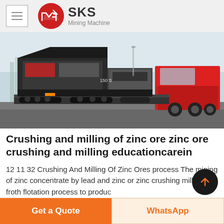SKS Mining Machine
[Figure (photo): Mobile crushing and screening plant loaded on a flatbed truck trailer, pulled by a red semi truck cab, photographed on a paved lot with industrial background.]
Crushing and milling of zinc ore zinc ore crushing and milling educationcarein
12 11 32 Crushing And Milling Of Zinc Ores process The mining of zinc concentrate by lead and zinc or zinc crushing milling and froth flotation process to produ...